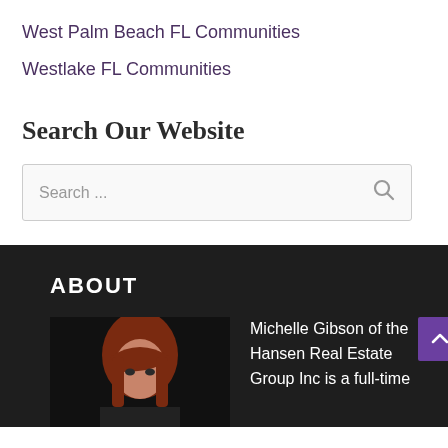West Palm Beach FL Communities
Westlake FL Communities
Search Our Website
Search ...
ABOUT
[Figure (photo): Portrait photo of a woman with red hair against a dark background]
Michelle Gibson of the Hansen Real Estate Group Inc is a full-time